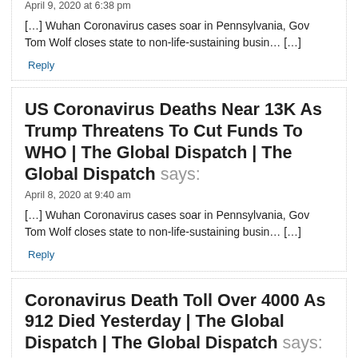April 9, 2020 at 6:38 pm
[…] Wuhan Coronavirus cases soar in Pennsylvania, Gov Tom Wolf closes state to non-life-sustaining busin… […]
Reply
US Coronavirus Deaths Near 13K As Trump Threatens To Cut Funds To WHO | The Global Dispatch | The Global Dispatch says:
April 8, 2020 at 9:40 am
[…] Wuhan Coronavirus cases soar in Pennsylvania, Gov Tom Wolf closes state to non-life-sustaining busin… […]
Reply
Coronavirus Death Toll Over 4000 As 912 Died Yesterday | The Global Dispatch | The Global Dispatch says:
April 1, 2020 at 7:51 pm